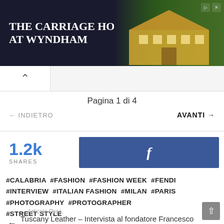[Figure (screenshot): Advertisement banner for 'The Carriage Homes at Wyndham' with a 'Visit Us' button and a house image]
Pagina 1 di 4
← INDIETRO    AVANTI →
1.2k SHARES  [Facebook share button]
#CALABRIA #FASHION #FASHION WEEK #FENDI #INTERVIEW #ITALIAN FASHION #MILAN #PARIS #PHOTOGRAPHY #PROTOGRAPHER #STREET STYLE
Articolo Prec.
← Tuscany Leather – Intervista al fondatore Francesco Altarilla